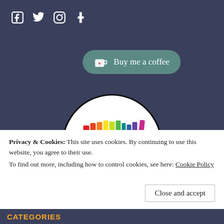[Figure (logo): Social media icons: Facebook, Twitter, Instagram, Tumblr in white on dark background]
[Figure (other): Buy me a coffee button with coffee cup icon on teal rounded rectangle]
[Figure (logo): LGBTQ Reads circular logo with rainbow-colored book spines and bold text LGBTQ READS]
Privacy & Cookies: This site uses cookies. By continuing to use this website, you agree to their use.
To find out more, including how to control cookies, see here: Cookie Policy
Close and accept
CATEGORIES